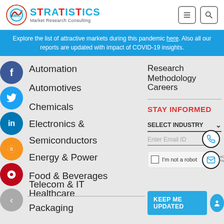Stratistics Market Research Consulting
Explore the list of attractive markets during this pandemic here. Also all our reports are updated with impact of COVID-19 insights.
Automation
Automotives
Chemicals
Electronics & Semiconductors
Energy & Power
Food & Beverages
Healthcare
Packaging
Telecom & IT
Research Methodology
Careers
STAY INFORMED
SELECT INDUSTRY
Enter Email ID
I'm not a robot
KEEP ME UPDATED